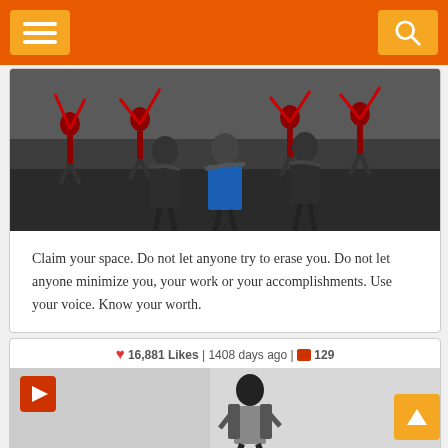[Figure (screenshot): Video thumbnail showing cheerleaders in red uniforms performing on what appears to be an outdoor stage or court, with other performers in foreground]
Claim your space. Do not let anyone try to erase you. Do not let anyone minimize you, your work or your accomplishments. Use your voice. Know your worth.
❤ 16,881 Likes | 1408 days ago | 💬 129
[Figure (screenshot): Video thumbnail showing a person dancing in front of a white/grey background with a red play button in upper left corner]